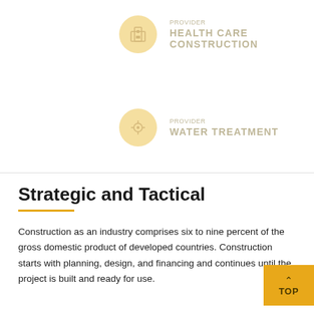[Figure (infographic): Provider icon circle (light yellow/gold) with a building/hospital icon, labeled PROVIDER HEALTH CARE CONSTRUCTION]
[Figure (infographic): Provider icon circle (light yellow/gold) with a water droplet/treatment icon, labeled PROVIDER WATER TREATMENT]
Strategic and Tactical
Construction as an industry comprises six to nine percent of the gross domestic product of developed countries. Construction starts with planning, design, and financing and continues until the project is built and ready for use.